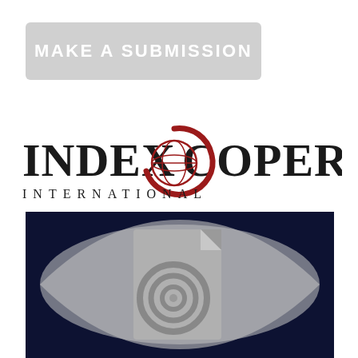[Figure (other): Gray rounded rectangle button with white bold text 'MAKE A SUBMISSION']
[Figure (logo): Index Copernicus International logo with red globe/C symbol and black serif text]
[Figure (illustration): Index Copernicus journal icon: a stylized eye shape on dark navy background with a gray spiral/document icon in the center]